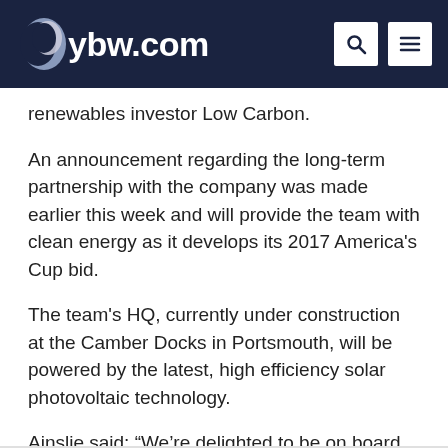ybw.com
renewables investor Low Carbon.
An announcement regarding the long-term partnership with the company was made earlier this week and will provide the team with clean energy as it develops its 2017 America's Cup bid.
The team's HQ, currently under construction at the Camber Docks in Portsmouth, will be powered by the latest, high efficiency solar photovoltaic technology.
Ainslie said: “We’re delighted to be on board with Low Carbon, and this new partnership takes us a long way towards our goal of sustainable clean energy for our new base.”